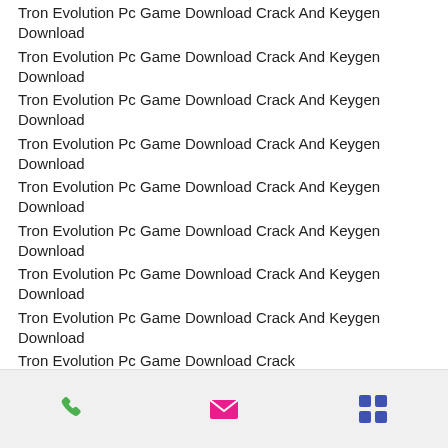Tron Evolution Pc Game Download Crack And Keygen Download
Tron Evolution Pc Game Download Crack And Keygen Download
Tron Evolution Pc Game Download Crack And Keygen Download
Tron Evolution Pc Game Download Crack And Keygen Download
Tron Evolution Pc Game Download Crack And Keygen Download
Tron Evolution Pc Game Download Crack And Keygen Download
Tron Evolution Pc Game Download Crack And Keygen Download
Tron Evolution Pc Game Download Crack And Keygen Download
Tron Evolution Pc Game Download Crack And Keygen Download
Tron Evolution Pc Game Download Crack
[Figure (other): Mobile app bottom navigation bar with three icons: green phone icon, pink/magenta envelope/mail icon, and blue grid/menu icon]